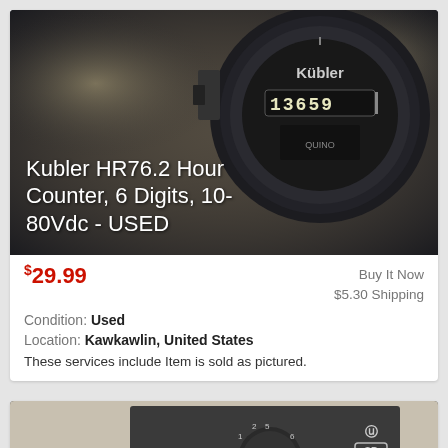[Figure (photo): Photo of a Kubler HR76.2 round hour counter gauge, black housing, showing digits 13659 on the display face, with white text overlay reading 'Kubler HR76.2 Hour Counter, 6 Digits, 10-80Vdc - USED']
$29.99   Buy It Now  $5.30 Shipping  Condition: Used  Location: Kawkawlin, United States  These services include Item is sold as pictured.
[Figure (photo): Photo of a dark grey Mars Universal Timer 32391 module with a rotary dial labeled MINUTES (markings: .1 to 8), UL and SP 55281 certification logos visible]